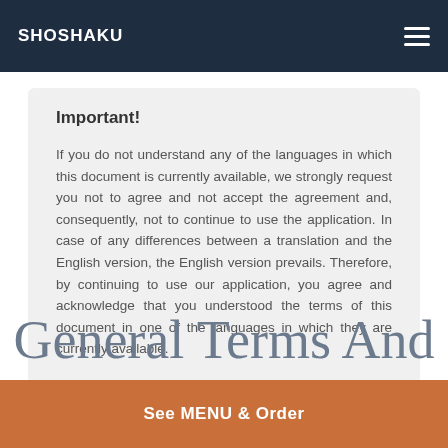SHOSHAKU
Important!
If you do not understand any of the languages in which this document is currently available, we strongly request you not to agree and not accept the agreement and, consequently, not to continue to use the application. In case of any differences between a translation and the English version, the English version prevails. Therefore, by continuing to use our application, you agree and acknowledge that you understood the terms of this document in one of the languages in which they are currently available.
General Terms And
See MENU & Order